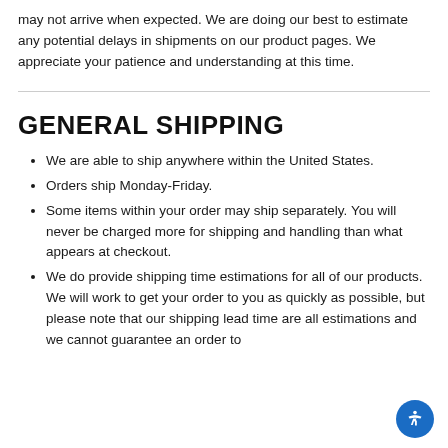may not arrive when expected. We are doing our best to estimate any potential delays in shipments on our product pages. We appreciate your patience and understanding at this time.
GENERAL SHIPPING
We are able to ship anywhere within the United States.
Orders ship Monday-Friday.
Some items within your order may ship separately. You will never be charged more for shipping and handling than what appears at checkout.
We do provide shipping time estimations for all of our products. We will work to get your order to you as quickly as possible, but please note that our shipping lead time are all estimations and we cannot guarantee an order to